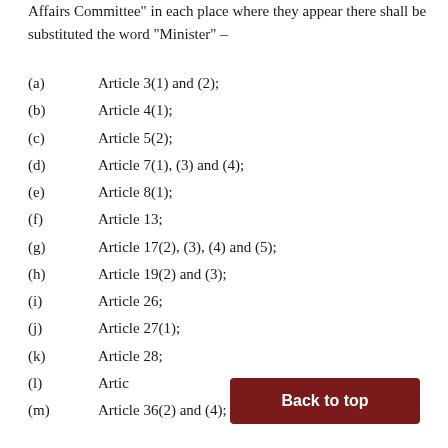Affairs Committee" in each place where they appear there shall be substituted the word “Minister” –
(a)   Article 3(1) and (2);
(b)   Article 4(1);
(c)   Article 5(2);
(d)   Article 7(1), (3) and (4);
(e)   Article 8(1);
(f)   Article 13;
(g)   Article 17(2), (3), (4) and (5);
(h)   Article 19(2) and (3);
(i)   Article 26;
(j)   Article 27(1);
(k)   Article 28;
(l)   Article [obscured]
(m)   Article 36(2) and (4);